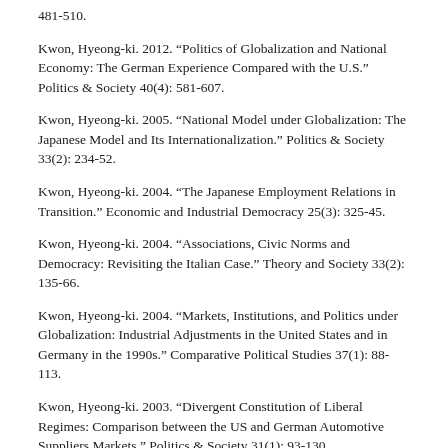481-510.
Kwon, Hyeong-ki. 2012. “Politics of Globalization and National Economy: The German Experience Compared with the U.S.” Politics & Society 40(4): 581-607.
Kwon, Hyeong-ki. 2005. “National Model under Globalization: The Japanese Model and Its Internationalization.” Politics & Society 33(2): 234-52.
Kwon, Hyeong-ki. 2004. “The Japanese Employment Relations in Transition.” Economic and Industrial Democracy 25(3): 325-45.
Kwon, Hyeong-ki. 2004. “Associations, Civic Norms and Democracy: Revisiting the Italian Case.” Theory and Society 33(2): 135-66.
Kwon, Hyeong-ki. 2004. “Markets, Institutions, and Politics under Globalization: Industrial Adjustments in the United States and in Germany in the 1990s.” Comparative Political Studies 37(1): 88-113.
Kwon, Hyeong-ki. 2003. “Divergent Constitution of Liberal Regimes: Comparison between the US and German Automotive Suppliers Markets.” Politics & Society 31(1): 93-130.
Lim, Haeran. 2010. “Transformation of Developmental States: Political Economy of Economic Reform in Korea.” Journal of Contemporary Asia 4(2): 180-210.
Lim, Haeran. 2009. “Democratization and the Transformation Process in East Asian Developmental States: Financial Reform in Korea and